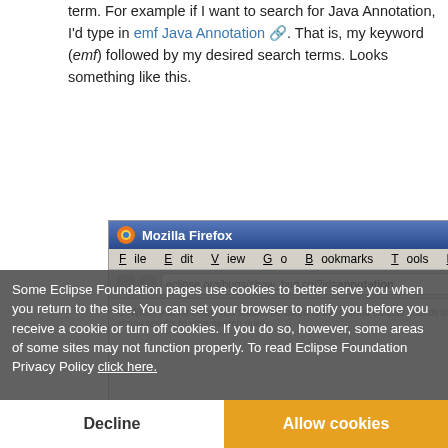term. For example if I want to search for Java Annotation, I'd type in emf Java Annotation [link]. That is, my keyword (emf) followed by my desired search terms. Looks something like this.
[Figure (screenshot): Mozilla Firefox browser window screenshot showing the Firefox titlebar, menu bar with File, Edit, View, Go, Bookmarks, Tools, Help, and partial address bar content]
3. When you hit enter, you should be taken to the normal Eclipse search site and find the many results to your search query.
How does it work?
Firefox replaces %s in any bookmarked url with whatever terms follow it.
So, a bookmark to https://bugs.eclipse.org/bugs/show_bug.cgi?id=%s [link], stored as keyword bug; can open any Eclipse bugzilla by number by entering, for example, bug 116912 [link] in Firefox's location bar.
Some Eclipse Foundation pages use cookies to better serve you when you return to the site. You can set your browser to notify you before you receive a cookie or turn off cookies. If you do so, however, some areas of some sites may not function properly. To read Eclipse Foundation Privacy Policy click here.